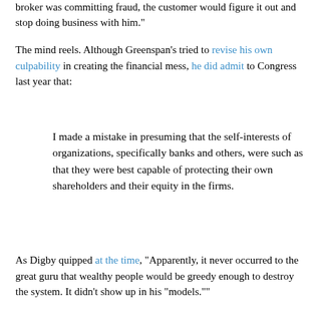broker was committing fraud, the customer would figure it out and stop doing business with him."
The mind reels. Although Greenspan's tried to revise his own culpability in creating the financial mess, he did admit to Congress last year that:
I made a mistake in presuming that the self-interests of organizations, specifically banks and others, were such as that they were best capable of protecting their own shareholders and their equity in the firms.
As Digby quipped at the time, "Apparently, it never occurred to the great guru that wealthy people would be greedy enough to destroy the system. It didn't show up in his "models.""